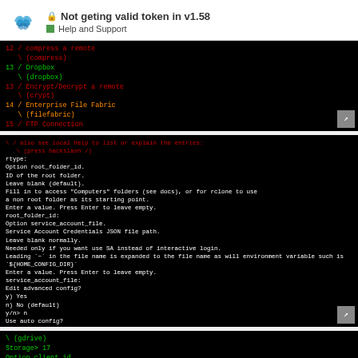Not geting valid token in v1.58 — Help and Support
[Figure (screenshot): Terminal screenshot showing rclone config menu with numbered options: compress & remote (compress), Dropbox (dropbox), Encrypt/Decrypt a remote (crypt), Enterprise File Fabric (filefabric), FTP Connection]
[Figure (screenshot): Terminal screenshot showing rclone configuration prompts for service credentials, folder id, Google credentials, browser availability, PKCE option, and token generation command output]
[Figure (screenshot): Terminal screenshot showing Storage> 17, Option client_id, Google Application Client Id prompt, setting own is recommended, see https://rclone.org/drive/#making-your-own-client-id for how, leave blank notice, Enter a value prompt. Page navigation showing 12/34.]